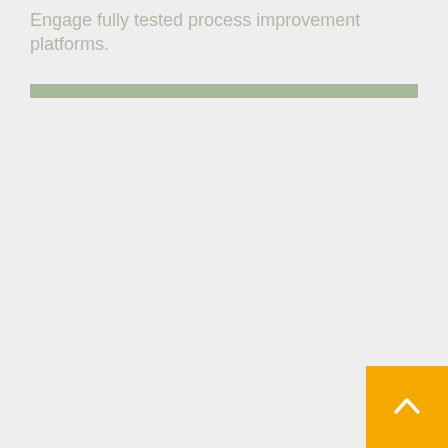Engage fully tested process improvement platforms.
[Figure (other): Horizontal sage/green divider bar]
[Figure (other): Yellow/amber square button with upward-pointing chevron arrow in bottom-right corner]